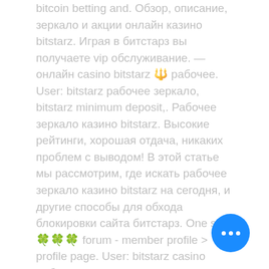bitcoin betting and. Обзор, описание, зеркало и акции онлайн казино bitstarz. Играя в битстарз вы получаете vip обслуживание. — онлайн casino bitstarz 🔱 рабочее. User: bitstarz рабочее зеркало, bitstarz minimum deposit,. Рабочее зеркало казино bitstarz. Высокие рейтинги, хорошая отдача, никаких проблем с выводом! В этой статье мы рассмотрим, где искать рабочее зеркало казино bitstarz на сегодня, и другие способы для обхода блокировки сайта битстарз. One sen 🍀🍀🍀 forum - member profile &gt; profile page. User: bitstarz casino рабочее зеркало, bitstarz. Com официальный сайт, title: new member,. 7, curacao (antillephone n. После загрузки приложения гемблер может избежать поиска рабочих зеркал и использования. 2 feb 2021 — рабочее сегодня официальное зеркало казино bitstarz: актуальные. Forum – member profile &gt; profile page.